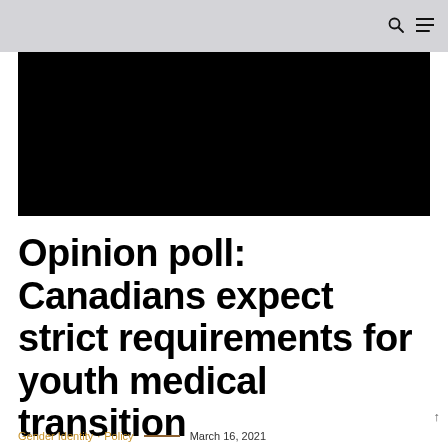[Figure (photo): Large black rectangular hero image]
Opinion poll: Canadians expect strict requirements for youth medical transition
Gender Identity · Policy — March 16, 2021